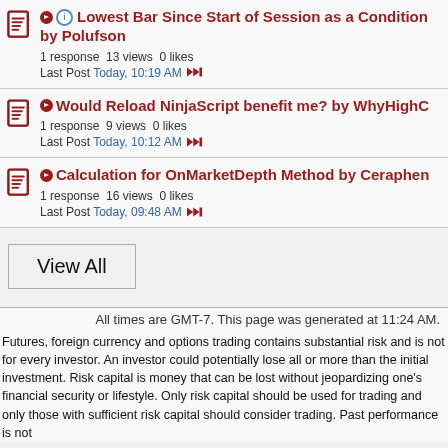Lowest Bar Since Start of Session as a Condition by Polufson
1 response 13 views 0 likes
Last Post Today, 10:19 AM
Would Reload NinjaScript benefit me? by WhyHighC
1 response 9 views 0 likes
Last Post Today, 10:12 AM
Calculation for OnMarketDepth Method by Ceraphen
1 response 16 views 0 likes
Last Post Today, 09:48 AM
View All
All times are GMT-7. This page was generated at 11:24 AM.
Futures, foreign currency and options trading contains substantial risk and is not for every investor. An investor could potentially lose all or more than the initial investment. Risk capital is money that can be lost without jeopardizing one's financial security or lifestyle. Only risk capital should be used for trading and only those with sufficient risk capital should consider trading. Past performance is not